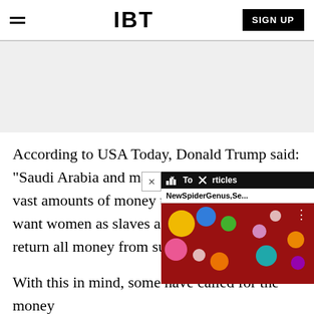IBT | SIGN UP
[Figure (other): Gray advertisement banner area]
According to USA Today, Donald Trump said: "Saudi Arabia and many of vast amounts of money to t want women as slaves and return all money from such countries.
With this in mind, some have called for the money